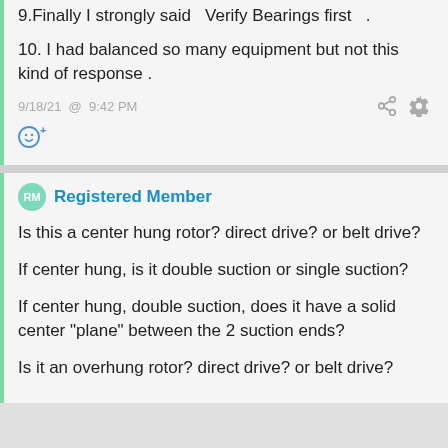9.Finally I strongly said   Verify Bearings first   .
10. I had balanced so many equipment but not this kind of response .
9/18/21  @  9:42 PM
Registered Member
Is this a center hung rotor? direct drive? or belt drive?
If center hung, is it double suction or single suction?
If center hung, double suction, does it have a solid center "plane" between the 2 suction ends?
Is it an overhung rotor? direct drive? or belt drive?